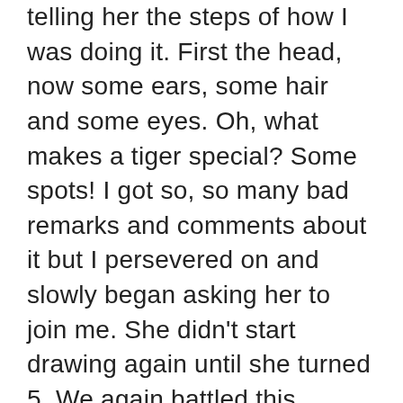telling her the steps of how I was doing it. First the head, now some ears, some hair and some eyes. Oh, what makes a tiger special? Some spots! I got so, so many bad remarks and comments about it but I persevered on and slowly began asking her to join me. She didn't start drawing again until she turned 5. We again battled this phenomena with writing. Because her writing didn't look like my printing or what was in the books, she just refused, flat out, to write. This was a huge block, especially at school, with a teacher who refused to listen. Once we got